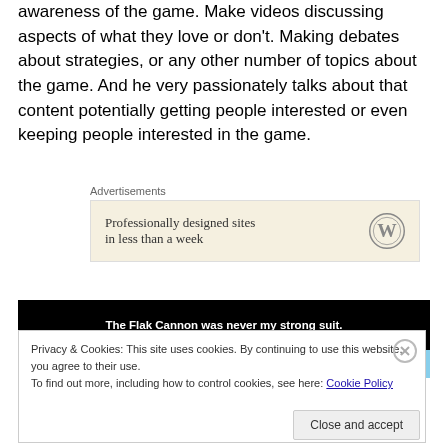awareness of the game. Make videos discussing aspects of what they love or don't. Making debates about strategies, or any other number of topics about the game. And he very passionately talks about that content potentially getting people interested or even keeping people interested in the game.
Advertisements
[Figure (other): WordPress advertisement: 'Professionally designed sites in less than a week' with WordPress logo]
[Figure (other): Blog banner with black background, text: 'The Flak Cannon was never my strong suit.' and a partial image below]
Privacy & Cookies: This site uses cookies. By continuing to use this website, you agree to their use.
To find out more, including how to control cookies, see here: Cookie Policy
Close and accept